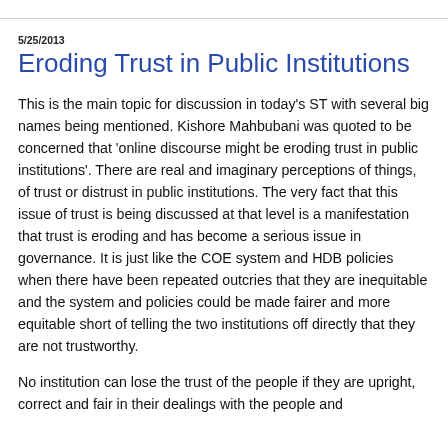5/25/2013
Eroding Trust in Public Institutions
This is the main topic for discussion in today's ST with several big names being mentioned. Kishore Mahbubani was quoted to be concerned that 'online discourse might be eroding trust in public institutions'. There are real and imaginary perceptions of things, of trust or distrust in public institutions. The very fact that this issue of trust is being discussed at that level is a manifestation that trust is eroding and has become a serious issue in governance. It is just like the COE system and HDB policies when there have been repeated outcries that they are inequitable and the system and policies could be made fairer and more equitable short of telling the two institutions off directly that they are not trustworthy.
No institution can lose the trust of the people if they are upright, correct and fair in their dealings with the people and